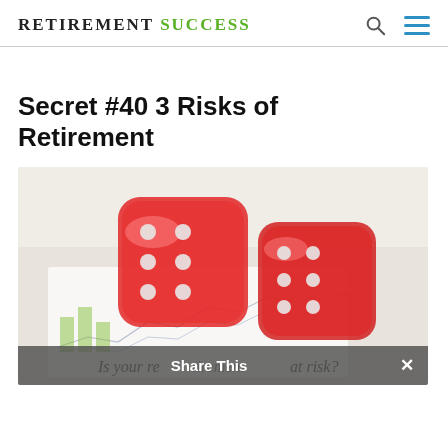RETIREMENT SUCCESS
Secret #40 3 Risks of Retirement
[Figure (photo): Two red transparent dice resting on financial documents with text 'Is your retirement at risk?' visible at the bottom of the image]
Share This